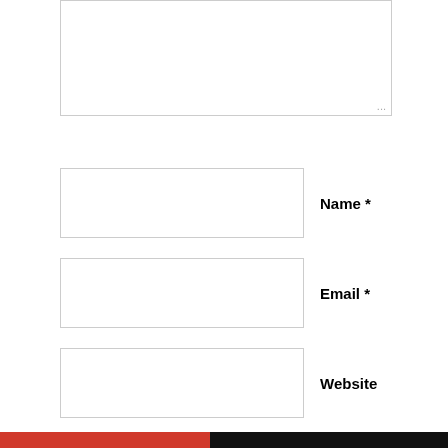[Figure (screenshot): Comment form textarea (empty, top of page, partially cropped)]
Name *
Email *
Website
Post Comment
Notify me of new comments via email.
Privacy & Cookies: This site uses cookies. By continuing to use this website, you agree to their use.
To find out more, including how to control cookies, see here: Cookie Policy
Close and accept